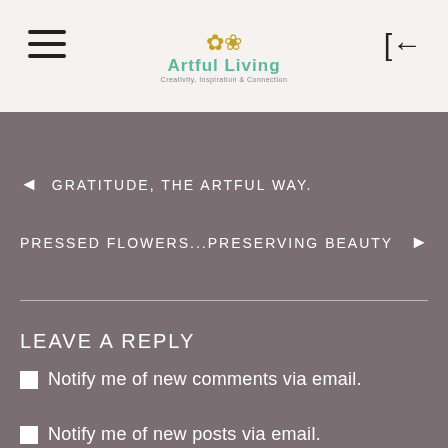Artful Living
◄ GRATITUDE, THE ARTFUL WAY.
PRESSED FLOWERS...PRESERVING BEAUTY ►
LEAVE A REPLY
Notify me of new comments via email.
Notify me of new posts via email.